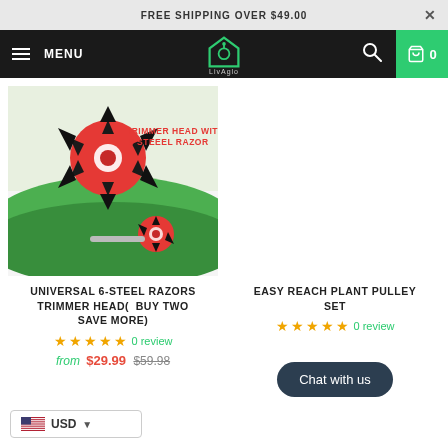FREE SHIPPING OVER $49.00
[Figure (screenshot): E-commerce website navigation bar with hamburger menu, logo, search icon, and cart with 0 items on green background]
[Figure (photo): Red trimmer head with 6 steel razor blades shown from above and in use on green grass, with text 'TRIMMER HEAD WITH 6 STEEL RAZOR']
UNIVERSAL 6-STEEL RAZORS TRIMMER HEAD( BUY TWO SAVE MORE)
0 review
from $29.99 $59.98
EASY REACH PLANT PULLEY SET
0 review
Chat with us
USD